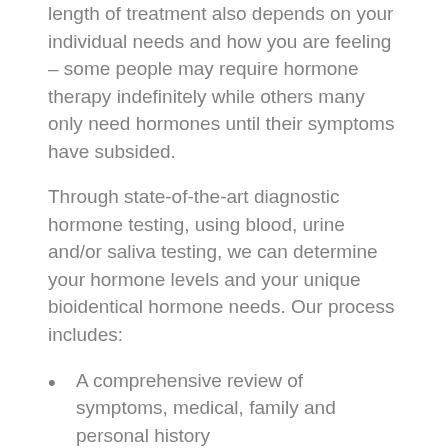length of treatment also depends on your individual needs and how you are feeling – some people may require hormone therapy indefinitely while others many only need hormones until their symptoms have subsided.
Through state-of-the-art diagnostic hormone testing, using blood, urine and/or saliva testing, we can determine your hormone levels and your unique bioidentical hormone needs. Our process includes:
A comprehensive review of symptoms, medical, family and personal history
Testing – saliva, urine and/or blood laboratory analysis
Natural hormone balancing